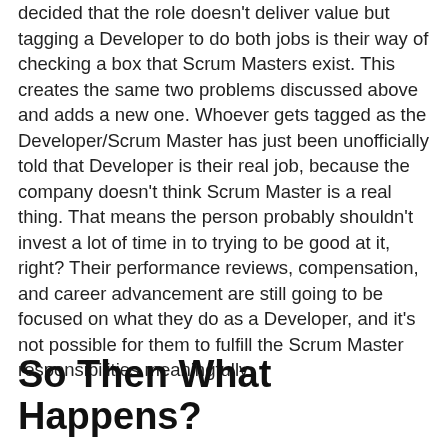decided that the role doesn't deliver value but tagging a Developer to do both jobs is their way of checking a box that Scrum Masters exist. This creates the same two problems discussed above and adds a new one. Whoever gets tagged as the Developer/Scrum Master has just been unofficially told that Developer is their real job, because the company doesn't think Scrum Master is a real thing. That means the person probably shouldn't invest a lot of time in to trying to be good at it, right? Their performance reviews, compensation, and career advancement are still going to be focused on what they do as a Developer, and it's not possible for them to fulfill the Scrum Master responsibilities meaningfully.
So Then What Happens?